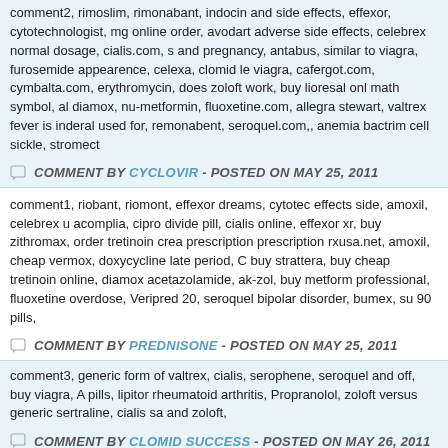comment2, rimoslim, rimonabant, indocin and side effects, effexor, cytotechnologist, mg online order, avodart adverse side effects, celebrex normal dosage, cialis.com, s and pregnancy, antabus, similar to viagra, furosemide appearence, celexa, clomid le viagra, cafergot.com, cymbalta.com, erythromycin, does zoloft work, buy lioresal onl math symbol, al diamox, nu-metformin, fluoxetine.com, allegra stewart, valtrex fever is inderal used for, remonabent, seroquel.com,, anemia bactrim cell sickle, stromect
COMMENT BY CYCLOVIR - POSTED ON MAY 25, 2011
comment1, riobant, riomont, effexor dreams, cytotec effects side, amoxil, celebrex u acomplia, cipro divide pill, cialis online, effexor xr, buy zithromax, order tretinoin crea prescription prescription rxusa.net, amoxil, cheap vermox, doxycycline late period, C buy strattera, buy cheap tretinoin online, diamox acetazolamide, ak-zol, buy metform professional, fluoxetine overdose, Veripred 20, seroquel bipolar disorder, bumex, su 90 pills,
COMMENT BY PREDNISONE - POSTED ON MAY 25, 2011
comment3, generic form of valtrex, cialis, serophene, seroquel and off, buy viagra, A pills, lipitor rheumatoid arthritis, Propranolol, zoloft versus generic sertraline, cialis sa and zoloft,
COMMENT BY CLOMID SUCCESS - POSTED ON MAY 26, 2011
comment6, cialis compare levitra viagra, 250 antabuse cheap generic mg online ord newport cigarettes, retin a micro side effects, lexapro, levitra 12 pills, cialis, over the
COMMENT BY INFO PREDNISONE - POSTED ON MAY 26, 2011